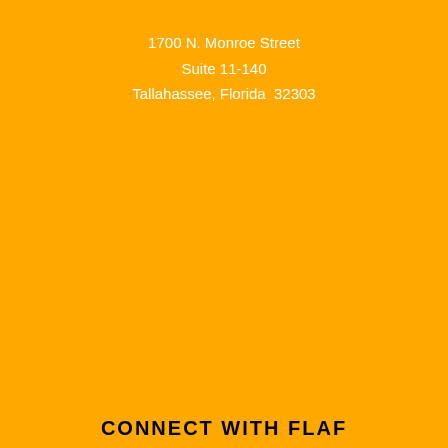1700 N. Monroe Street
Suite 11-140
Tallahassee, Florida  32303
[Figure (other): National Freedom Of Information Coalition logo with redacted text elements beside it, and a broken image placeholder with a horizontal line]
CONNECT WITH FLAF